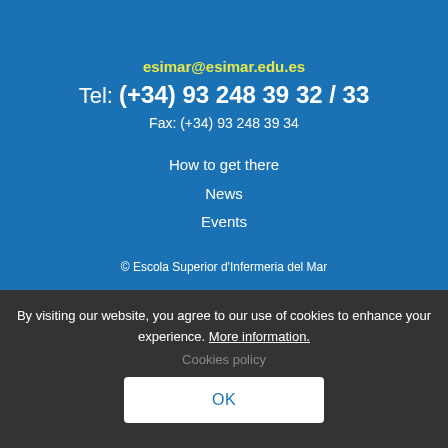esimar@esimar.edu.es
Tel: (+34) 93 248 39 32 / 33
Fax: (+34) 93 248 39 34
How to get there
News
Events
© Escola Superior d'Infermeria del Mar
By visiting our website, you agree to our use of cookies to enhance your experience. More information.
Cookies policy
OK